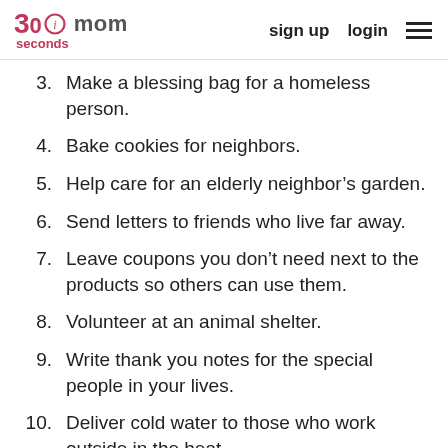30seconds mom — sign up  login
3. Make a blessing bag for a homeless person.
4. Bake cookies for neighbors.
5. Help care for an elderly neighbor’s garden.
6. Send letters to friends who live far away.
7. Leave coupons you don’t need next to the products so others can use them.
8. Volunteer at an animal shelter.
9. Write thank you notes for the special people in your lives.
10. Deliver cold water to those who work outside in the heat.
11. Deliver hand warmers to those who work outside